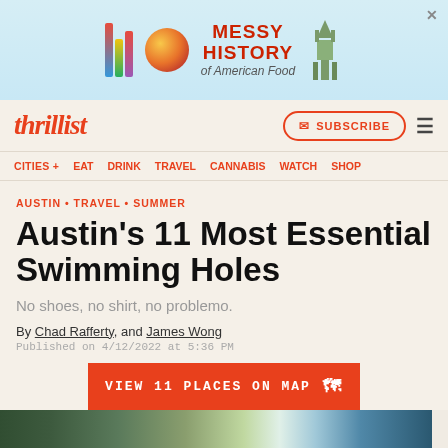[Figure (screenshot): Advertisement banner for 'Messy History of American Food' with colorful bars, sphere, and Statue of Liberty]
thrillist | SUBSCRIBE
CITIES + EAT DRINK TRAVEL CANNABIS WATCH SHOP
AUSTIN • TRAVEL • SUMMER
Austin's 11 Most Essential Swimming Holes
No shoes, no shirt, no problemo.
By Chad Rafferty, and James Wong
Published on 4/12/2022 at 5:36 PM
VIEW 11 PLACES ON MAP
[Figure (photo): Partial outdoor scenic landscape photo at bottom of page]